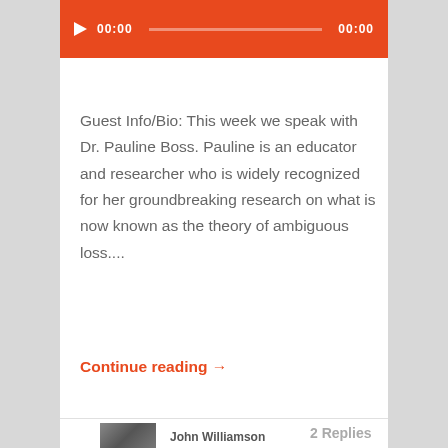[Figure (other): Orange audio player bar with play button, timestamp 00:00, progress bar, and end time 00:00]
Guest Info/Bio: This week we speak with Dr. Pauline Boss. Pauline is an educator and researcher who is widely recognized for her groundbreaking research on what is now known as the theory of ambiguous loss....
Continue reading →
[Figure (photo): Black and white photo of John Williamson]
John Williamson
2 Replies